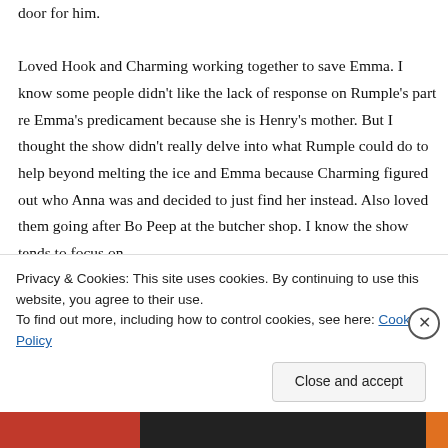door for him. Loved Hook and Charming working together to save Emma. I know some people didn't like the lack of response on Rumple's part re Emma's predicament because she is Henry's mother. But I thought the show didn't really delve into what Rumple could do to help beyond melting the ice and Emma because Charming figured out who Anna was and decided to just find her instead. Also loved them going after Bo Peep at the butcher shop. I know the show tends to focus on
Privacy & Cookies: This site uses cookies. By continuing to use this website, you agree to their use.
To find out more, including how to control cookies, see here: Cookie Policy
Close and accept